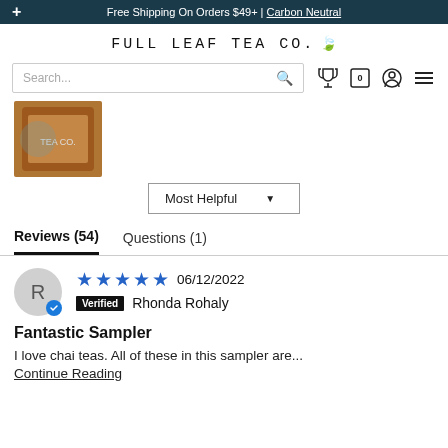+ Free Shipping On Orders $49+ | Carbon Neutral
FULL LEAF TEA CO.
[Figure (photo): Product thumbnail image showing a tea sampler jar with colorful label, partially visible.]
Most Helpful ▼
Reviews (54)   Questions (1)
★★★★★  06/12/2022
Verified  Rhonda Rohaly
Fantastic Sampler
I love chai teas. All of these in this sampler are...
Continue Reading